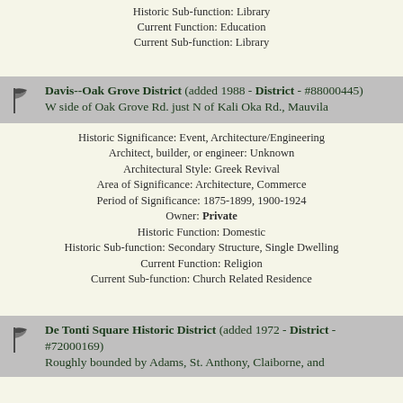Historic Sub-function: Library
Current Function: Education
Current Sub-function: Library
Davis--Oak Grove District (added 1988 - District - #88000445)
W side of Oak Grove Rd. just N of Kali Oka Rd., Mauvila
Historic Significance: Event, Architecture/Engineering
Architect, builder, or engineer: Unknown
Architectural Style: Greek Revival
Area of Significance: Architecture, Commerce
Period of Significance: 1875-1899, 1900-1924
Owner: Private
Historic Function: Domestic
Historic Sub-function: Secondary Structure, Single Dwelling
Current Function: Religion
Current Sub-function: Church Related Residence
De Tonti Square Historic District (added 1972 - District - #72000169)
Roughly bounded by Adams, St. Anthony, Claiborne, and